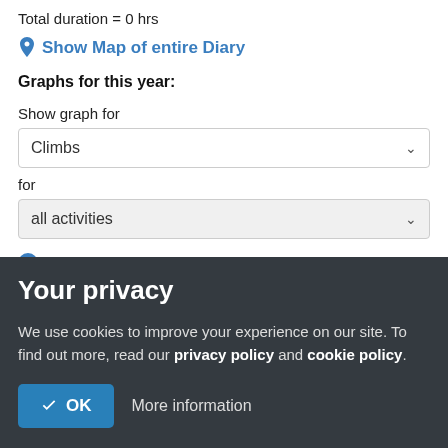Total duration = 0 hrs
Show Map of entire Diary
Graphs for this year:
Show graph for
Climbs
for
all activities
Totals each month (e.g., distance, duration)
Your privacy
We use cookies to improve your experience on our site. To find out more, read our privacy policy and cookie policy.
OK   More information